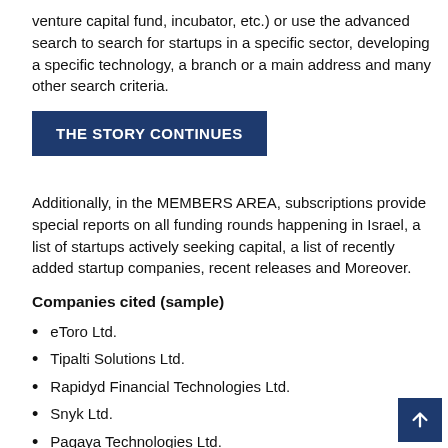venture capital fund, incubator, etc.) or use the advanced search to search for startups in a specific sector, developing a specific technology, a branch or a main address and many other search criteria.
THE STORY CONTINUES
Additionally, in the MEMBERS AREA, subscriptions provide special reports on all funding rounds happening in Israel, a list of startups actively seeking capital, a list of recently added startup companies, recent releases and Moreover.
Companies cited (sample)
eToro Ltd.
Tipalti Solutions Ltd.
Rapidyd Financial Technologies Ltd.
Snyk Ltd.
Pagaya Technologies Ltd.
Gong.io Ltd.